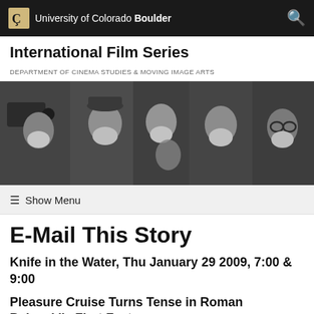University of Colorado Boulder
International Film Series
DEPARTMENT OF CINEMA STUDIES & MOVING IMAGE ARTS
[Figure (photo): Black and white photo of several film crew members wearing white face masks on a film set, with cameras and equipment visible]
Show Menu
E-Mail This Story
Knife in the Water, Thu January 29 2009, 7:00 & 9:00
Pleasure Cruise Turns Tense in Roman Polanski's First Feature
Romance and intrigue will heat up...